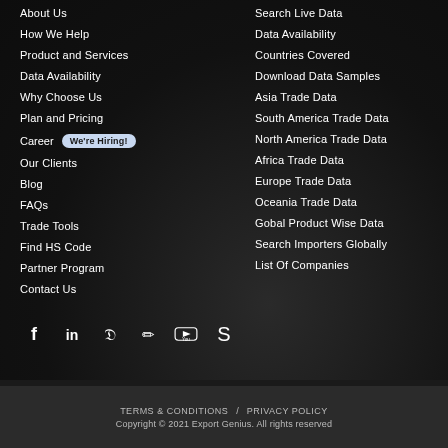About Us
How We Help
Product and Services
Data Availability
Why Choose Us
Plan and Pricing
Career  We're Hiring!
Our Clients
Blog
FAQs
Trade Tools
Find HS Code
Partner Program
Contact Us
Search Live Data
Data Availability
Countries Covered
Download Data Samples
Asia Trade Data
South America Trade Data
North America Trade Data
Africa Trade Data
Europe Trade Data
Oceania Trade Data
Gobal Product Wise Data
Search Importers Globally
List Of Companies
[Figure (infographic): Social media icons: Facebook, LinkedIn, Twitter, Edit/Blog, YouTube, Skype]
TERMS & CONDITIONS / PRIVACY POLICY
Copyright © 2021 Export Genius. All rights reserved